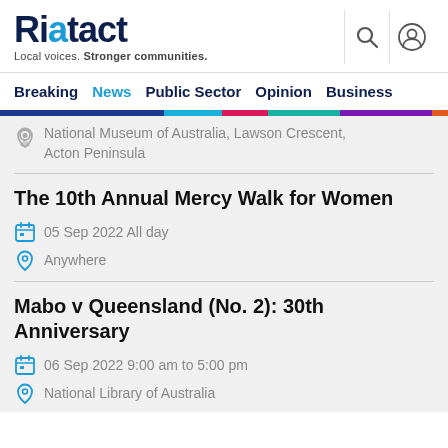Riotact — Local voices. Stronger communities.
Breaking  News  Public Sector  Opinion  Business
National Museum of Australia, Lawson Crescent, Acton Peninsula
The 10th Annual Mercy Walk for Women
05 Sep 2022 All day
Anywhere
Mabo v Queensland (No. 2): 30th Anniversary
06 Sep 2022 9:00 am to 5:00 pm
National Library of Australia